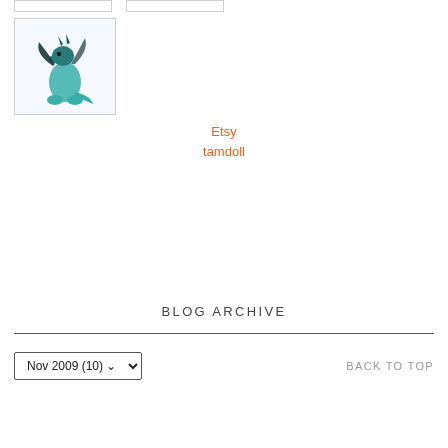[Figure (photo): Small decorative dragon figurine in teal/dark blue colors on white background]
Etsy
tamdoll
BLOG ARCHIVE
Nov 2009 (10)
BACK TO TOP